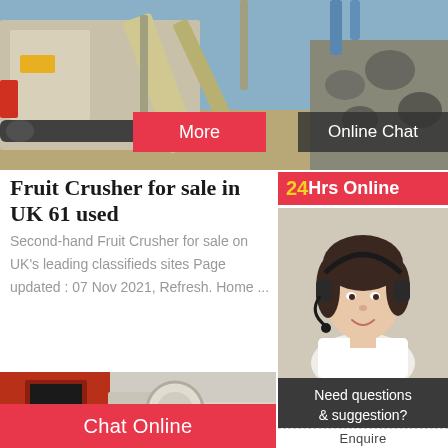[Figure (photo): Industrial mobile rock crusher/screening machine with conveyor belt and yellow/grey mechanical components against blue sky background]
More
Online Chat
Fruit Crusher for sale in UK 61 used Fruit Crushers
Second-hand Fruit Crusher for sale on UK's leading used classifieds sites Page updated : 07 Nov 2021, Refresh. Home ...
[Figure (photo): Industrial red-colored crusher machine with hopper/opening, set against light grey background]
24Hrs Online
[Figure (photo): Customer service representative, Asian woman wearing headset, white uniform, smiling]
Need questions & suggestion?
Chat Now
Chat Online
Enquire